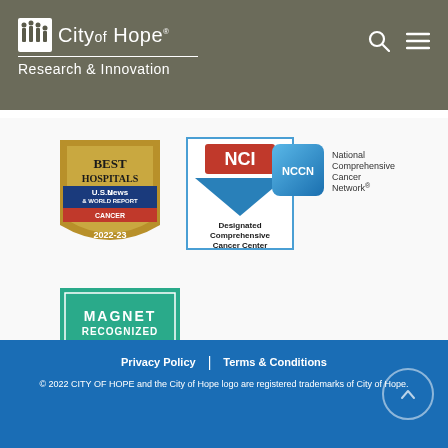City of Hope® Research & Innovation
[Figure (logo): US News Best Hospitals Cancer 2022-23 badge]
[Figure (logo): NCI Designated Comprehensive Cancer Center badge]
[Figure (logo): NCCN National Comprehensive Cancer Network badge]
[Figure (logo): Magnet Recognized American Nurses Credentialing Center badge]
Privacy Policy | Terms & Conditions
© 2022 CITY OF HOPE and the City of Hope logo are registered trademarks of City of Hope.